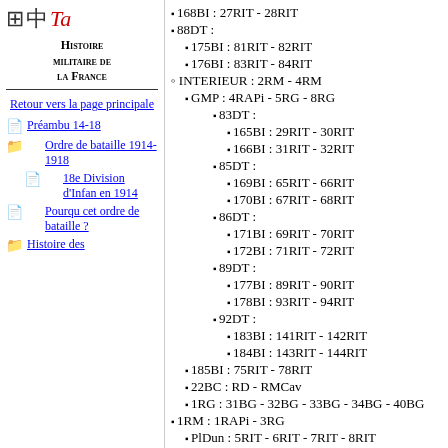[Figure (logo): Logo icons: grid/table, Chinese character, stylized red T]
Histoire militaire de la France
Retour vers la page principale
Préambu 14-18
Ordre de bataille 1914-1918
18e Division d'Infan en 1914
Pourqu cet ordre de bataille ?
Histoire des
168BI : 27RIT - 28RIT
88DT :
175BI : 81RIT - 82RIT
176BI : 83RIT - 84RIT
INTERIEUR : 2RM - 4RM
GMP : 4RAPi - 5RG - 8RG
83DT :
165BI : 29RIT - 30RIT
166BI : 31RIT - 32RIT
85DT :
169BI : 65RIT - 66RIT
170BI : 67RIT - 68RIT
86DT :
171BI : 69RIT - 70RIT
172BI : 71RIT - 72RIT
89DT :
177BI : 89RIT - 90RIT
178BI : 93RIT - 94RIT
92DT :
183BI : 141RIT - 142RIT
184BI : 143RIT - 144RIT
185BI : 75RIT - 78RIT
22BC : RD - RMCav
1RG : 31BG - 32BG - 33BG - 34BG - 40BG
1RM : 1RAPi - 3RG
PlDun : 5RIT - 6RIT - 7RIT - 8RIT